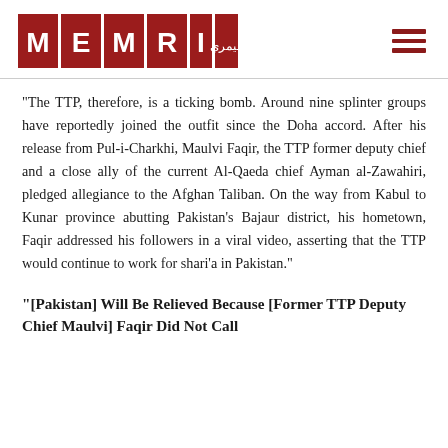[Figure (logo): MEMRI logo with red background boxes containing white letters M, E, M, R, I and Arabic text]
"The TTP, therefore, is a ticking bomb. Around nine splinter groups have reportedly joined the outfit since the Doha accord. After his release from Pul-i-Charkhi, Maulvi Faqir, the TTP former deputy chief and a close ally of the current Al-Qaeda chief Ayman al-Zawahiri, pledged allegiance to the Afghan Taliban. On the way from Kabul to Kunar province abutting Pakistan's Bajaur district, his hometown, Faqir addressed his followers in a viral video, asserting that the TTP would continue to work for shari'a in Pakistan."
"[Pakistan] Will Be Relieved Because [Former TTP Deputy Chief Maulvi] Faqir Did Not Call